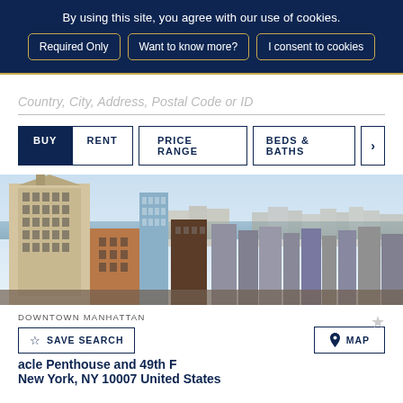By using this site, you agree with our use of cookies.
Required Only
Want to know more?
I consent to cookies
Country, City, Address, Postal Code or ID
BUY
RENT
PRICE RANGE
BEDS & BATHS
[Figure (photo): Aerial view of Downtown Manhattan skyline, New York City, showing densely packed skyscrapers including a classical ornate tower in the foreground, modern glass towers in the midground, and the Hudson River and Manhattan skyline in the background.]
DOWNTOWN MANHATTAN
SAVE SEARCH
MAP
acle Penthouse and 49th F
New York, NY 10007 United States